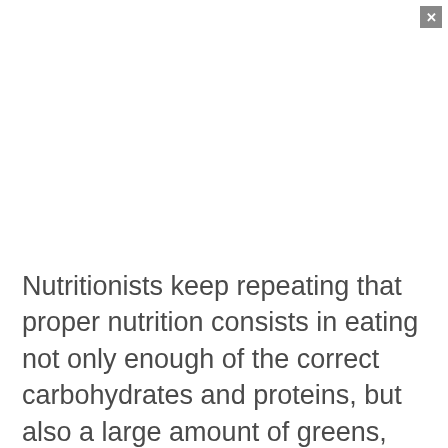Nutritionists keep repeating that proper nutrition consists in eating not only enough of the correct carbohydrates and proteins, but also a large amount of greens, fresh vegetables and fruits. What are the benefits of vegetables and what harm they can bring